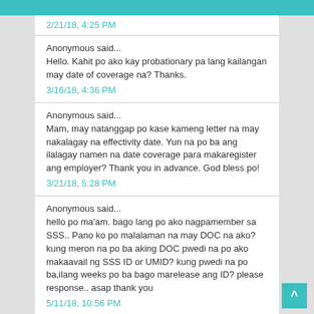2/21/18, 4:25 PM
Anonymous said...
Hello. Kahit po ako kay probationary pa lang kailangan may date of coverage na? Thanks.
3/16/18, 4:36 PM
Anonymous said...
Mam, may natanggap po kase kameng letter na may nakalagay na effectivity date. Yun na po ba ang ilalagay namen na date coverage para makaregister ang employer? Thank you in advance. God bless po!
3/21/18, 5:28 PM
Anonymous said...
hello po ma'am. bago lang po ako nagpamember sa SSS.. Pano ko po malalaman na may DOC na ako? kung meron na po ba aking DOC pwedi na po ako makaavail ng SSS ID or UMID? kung pwedi na po ba,ilang weeks po ba bago marelease ang ID? please response.. asap thank you
5/11/18, 10:56 PM